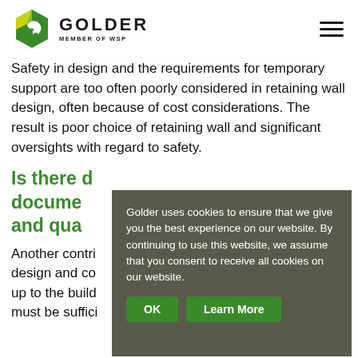GOLDER MEMBER OF WSP
Safety in design and the requirements for temporary support are too often poorly considered in retaining wall design, often because of cost considerations. The result is poor choice of retaining wall and significant oversights with regard to safety.
Is there documented and qua…
Another contri… design and co… up to the build… must be suffici…
Golder uses cookies to ensure that we give you the best experience on our website. By continuing to use this website, we assume that you consent to receive all cookies on our website.